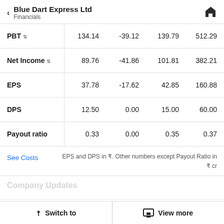Blue Dart Express Ltd — Financials
|  | Col1 | Col2 | Col3 | Col4 |
| --- | --- | --- | --- | --- |
| PBT ↕ | 134.14 | -39.12 | 139.79 | 512.29 |
| Net Income ↕ | 89.76 | -41.86 | 101.81 | 382.21 |
| EPS | 37.78 | -17.62 | 42.85 | 160.88 |
| DPS | 12.50 | 0.00 | 15.00 | 60.00 |
| Payout ratio | 0.33 | 0.00 | 0.35 | 0.37 |
See Costs
EPS and DPS in ₹. Other numbers except Payout Ratio in ₹ cr
Switch to | View more